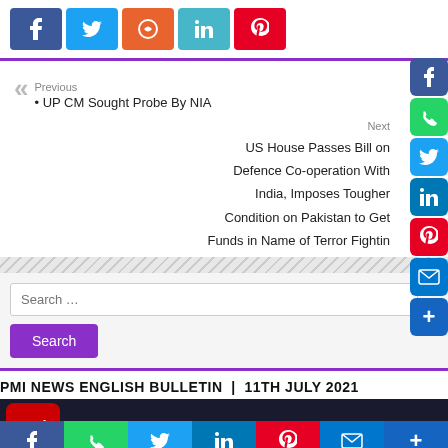[Figure (infographic): Social share buttons: Facebook (blue), Twitter (light blue), StumbleUpon (orange), LinkedIn (teal), Pinterest (red)]
Previous
• UP CM Sought Probe By NIA
Next
US House Passes Bill on Defence Co-operation With India, Imposes Tougher Condition on Pakistan to Get Funds in Name of Terror Fightin
[Figure (infographic): Search box with placeholder 'Search ...' and a purple Search button below]
PMI NEWS ENGLISH BULLETIN  |  11TH JULY 2021
[Figure (screenshot): PMI News English Bulletin thumbnail with PMI logo and crowd/news imagery]
[Figure (infographic): Right-side floating social share icons: Facebook, WhatsApp, Twitter, LinkedIn, Pinterest, Email, More]